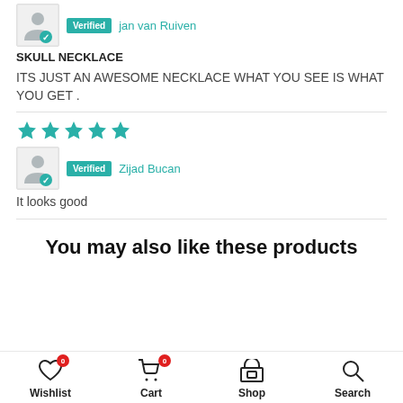jan van Ruiven — Verified reviewer
SKULL NECKLACE
ITS JUST AN AWESOME NECKLACE WHAT YOU SEE IS WHAT YOU GET .
Zijad Bucan — Verified reviewer
It looks good
You may also like these products
Wishlist 0 | Cart 0 | Shop | Search